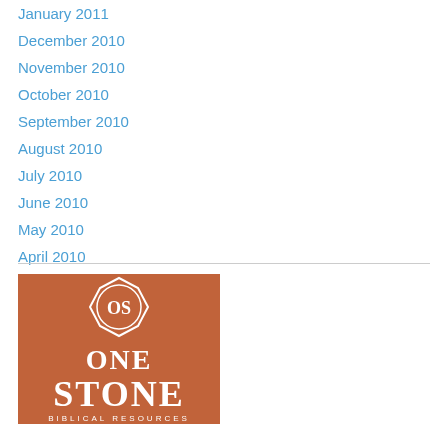January 2011
December 2010
November 2010
October 2010
September 2010
August 2010
July 2010
June 2010
May 2010
April 2010
March 2010
[Figure (logo): One Stone Biblical Resources logo — terracotta/rust colored square with a white octagonal emblem containing overlapping O and S letters, and white serif text reading ONE STONE BIBLICAL RESOURCES]